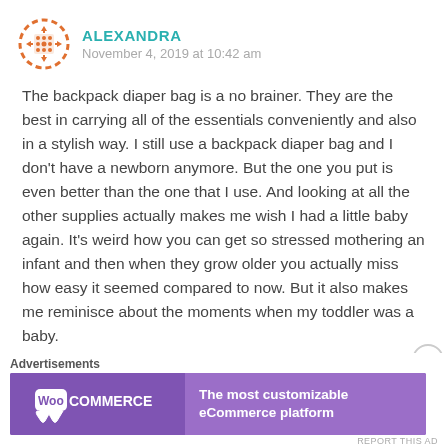ALEXANDRA
November 4, 2019 at 10:42 am
The backpack diaper bag is a no brainer. They are the best in carrying all of the essentials conveniently and also in a stylish way. I still use a backpack diaper bag and I don't have a newborn anymore. But the one you put is even better than the one that I use. And looking at all the other supplies actually makes me wish I had a little baby again. It's weird how you can get so stressed mothering an infant and then when they grow older you actually miss how easy it seemed compared to now. But it also makes me reminisce about the moments when my toddler was a baby.
Advertisements
[Figure (logo): WooCommerce advertisement banner with purple background showing WooCommerce logo on left and text 'The most customizable eCommerce platform' on right]